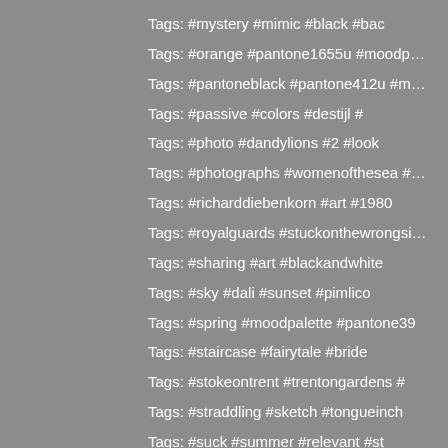Tags: #mystery #mimic #black #bac
Tags: #orange #pantone1655u #moodp…
Tags: #pantoneblack #pantone412u #m…
Tags: #passive #colors #destijl #
Tags: #photo #dandylions #2 #look
Tags: #photographs #womenofthesea #…
Tags: #richarddiebenkorn #art #1980
Tags: #royalguards #stuckonthewrongsi…
Tags: #sharing #art #blackandwhite
Tags: #sky #dali #sunset #pimlico
Tags: #spring #moodpalette #pantone39
Tags: #staircase #fairytale #bride
Tags: #stokeontrent #trentongardens #
Tags: #straddling #sketch #tongueinch
Tags: #suck #summer #relevant #st